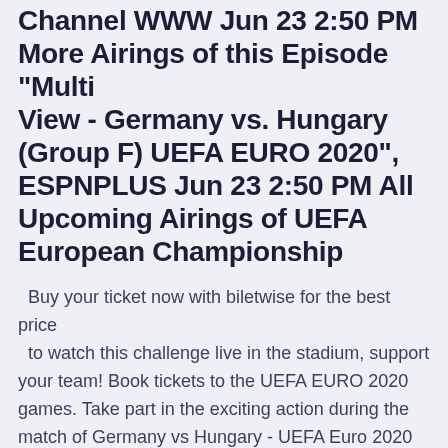Channel WWW Jun 23 2:50 PM More Airings of this Episode "Multi View - Germany vs. Hungary (Group F) UEFA EURO 2020", ESPNPLUS Jun 23 2:50 PM All Upcoming Airings of UEFA European Championship
Buy your ticket now with biletwise for the best price to watch this challenge live in the stadium, support your team! Book tickets to the UEFA EURO 2020 games. Take part in the exciting action during the match of Germany vs Hungary - UEFA Euro 2020 that will take place at the Allianz Arena, Munich, Germany on 23/06/2021 - 21:00.